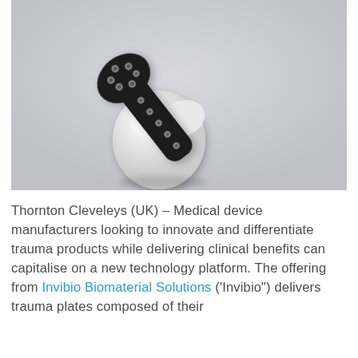[Figure (photo): Photograph of an orthopedic trauma plate (dark polymer with metal screws/holes) placed on a model of a femoral head bone, on a light grey background.]
Thornton Cleveleys (UK) – Medical device manufacturers looking to innovate and differentiate trauma products while delivering clinical benefits can capitalise on a new technology platform. The offering from Invibio Biomaterial Solutions ('Invibio") delivers trauma plates composed of their